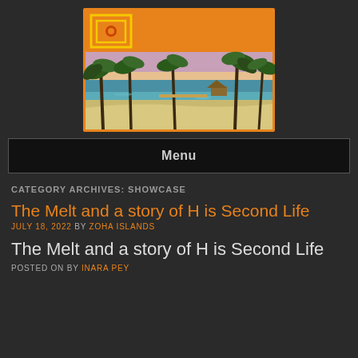[Figure (logo): Zoha Islands logo with orange border, nested square icon with dot, orange 'ZOHA' text and 'ISLANDS' text, beneath which is a tropical beach scene with palm trees, white sand, and blue water.]
Menu
CATEGORY ARCHIVES: SHOWCASE
The Melt and a story of H is Second Life
JULY 18, 2022 BY ZOHA ISLANDS
The Melt and a story of H is Second Life
POSTED ON BY INARA PEY